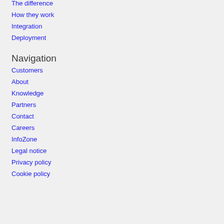The difference
How they work
Integration
Deployment
Navigation
Customers
About
Knowledge
Partners
Contact
Careers
InfoZone
Legal notice
Privacy policy
Cookie policy